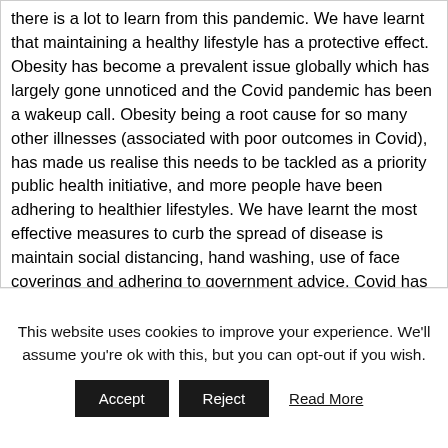there is a lot to learn from this pandemic. We have learnt that maintaining a healthy lifestyle has a protective effect. Obesity has become a prevalent issue globally which has largely gone unnoticed and the Covid pandemic has been a wakeup call. Obesity being a root cause for so many other illnesses (associated with poor outcomes in Covid), has made us realise this needs to be tackled as a priority public health initiative, and more people have been adhering to healthier lifestyles. We have learnt the most effective measures to curb the spread of disease is maintain social distancing, hand washing, use of face coverings and adhering to government advice. Covid has changed our working lives; we have learnt remote working from home does
This website uses cookies to improve your experience. We'll assume you're ok with this, but you can opt-out if you wish.
Accept   Reject   Read More